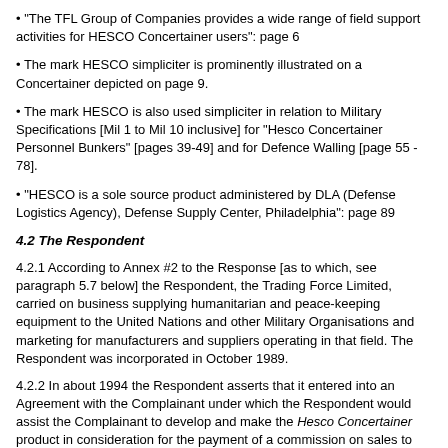• "The TFL Group of Companies provides a wide range of field support activities for HESCO Concertainer users": page 6
• The mark HESCO simpliciter is prominently illustrated on a Concertainer depicted on page 9.
• The mark HESCO is also used simpliciter in relation to Military Specifications [Mil 1 to Mil 10 inclusive] for "Hesco Concertainer Personnel Bunkers" [pages 39-49] and for Defence Walling [page 55 - 78].
• "HESCO is a sole source product administered by DLA (Defense Logistics Agency), Defense Supply Center, Philadelphia": page 89
4.2 The Respondent
4.2.1 According to Annex #2 to the Response [as to which, see paragraph 5.7 below] the Respondent, the Trading Force Limited, carried on business supplying humanitarian and peace-keeping equipment to the United Nations and other Military Organisations and marketing for manufacturers and suppliers operating in that field. The Respondent was incorporated in October 1989.
4.2.2 In about 1994 the Respondent asserts that it entered into an Agreement with the Complainant under which the Respondent would assist the Complainant to develop and make the Hesco Concertainer product in consideration for the payment of a commission on sales to third party customers.
4.2.3 This Agreement was, according to the Respondent, varied on a number of occasions [in September, 1997: 1999; and at the end of 2001], as a result of which varying commissions were agreed and the